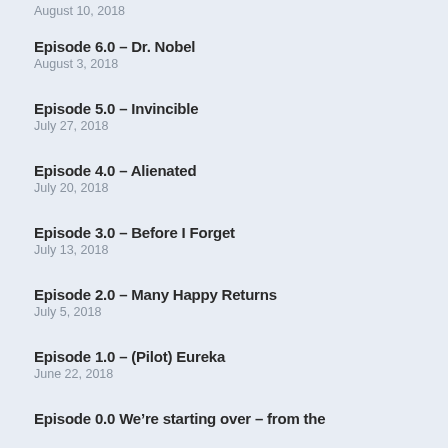August 10, 2018
Episode 6.0 – Dr. Nobel
August 3, 2018
Episode 5.0 – Invincible
July 27, 2018
Episode 4.0 – Alienated
July 20, 2018
Episode 3.0 – Before I Forget
July 13, 2018
Episode 2.0 – Many Happy Returns
July 5, 2018
Episode 1.0 – (Pilot) Eureka
June 22, 2018
Episode 0.0 We're starting over – from the